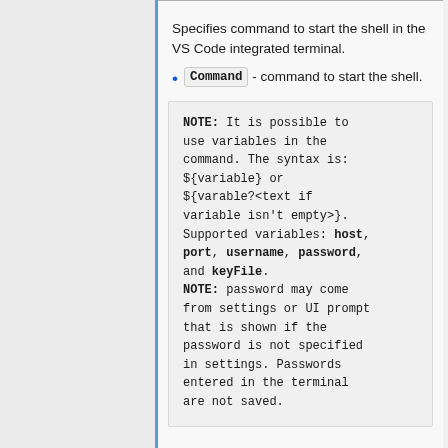Specifies command to start the shell in the VS Code integrated terminal.
Command - command to start the shell.
NOTE: It is possible to use variables in the command. The syntax is: ${variable} or ${varable?<text if variable isn't empty>}. Supported variables: host, port, username, password, and keyFile. NOTE: password may come from settings or UI prompt that is shown if the password is not specified in settings. Passwords entered in the terminal are not saved.